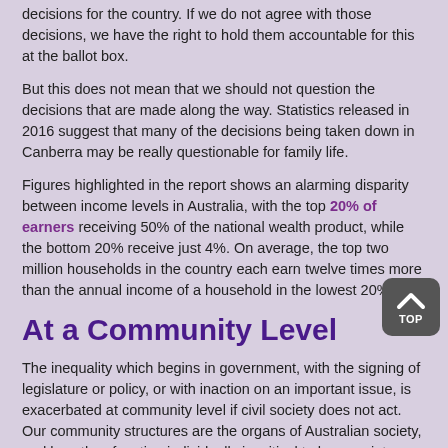decisions for the country. If we do not agree with those decisions, we have the right to hold them accountable for this at the ballot box.
But this does not mean that we should not question the decisions that are made along the way. Statistics released in 2016 suggest that many of the decisions being taken down in Canberra may be really questionable for family life.
Figures highlighted in the report shows an alarming disparity between income levels in Australia, with the top 20% of earners receiving 50% of the national wealth product, while the bottom 20% receive just 4%. On average, the top two million households in the country each earn twelve times more than the annual income of a household in the lowest 20%.
At a Community Level
The inequality which begins in government, with the signing of legislature or policy, or with inaction on an important issue, is exacerbated at community level if civil society does not act. Our community structures are the organs of Australian society, and how they function individually is critical to how society functions as a whole.